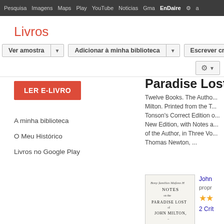Pesquisa  Imagens  Maps  Play  YouTube  Noticias  Gmail  Drive  EnDare  ⚙  a
Livros
Ver amostra  ▼   Adicionar à minha biblioteca  ▼   Escrever crítica
LER E-LIVRO
A minha biblioteca
O Meu Histórico
Livros no Google Play
Paradise Lost: A...
Twelve Books. The Autho... Milton. Printed from the T... Tonson's Correct Edition o... New Edition, with Notes a... of the Author, in Three Vo... Thomas Newton, ...
[Figure (illustration): Scanned book cover page showing handwritten signature at top, then 'NOTES ON THE PARADISE LOST BY JOHN MILTON' with publisher details including Newton, Addison at bottom]
John
propr
★★
2 Crít